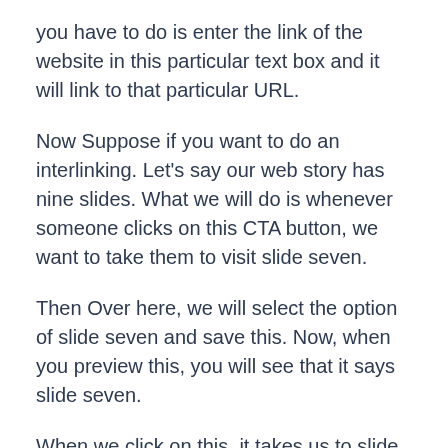you have to do is enter the link of the website in this particular text box and it will link to that particular URL.
Now Suppose if you want to do an interlinking. Let's say our web story has nine slides. What we will do is whenever someone clicks on this CTA button, we want to take them to visit slide seven.
Then Over here, we will select the option of slide seven and save this. Now, when you preview this, you will see that it says slide seven.
When we click on this, it takes us to slide seven.
The good thing about this is that now when you click back, It won't go to slide six. It will go to slide number three from where the user was taken.